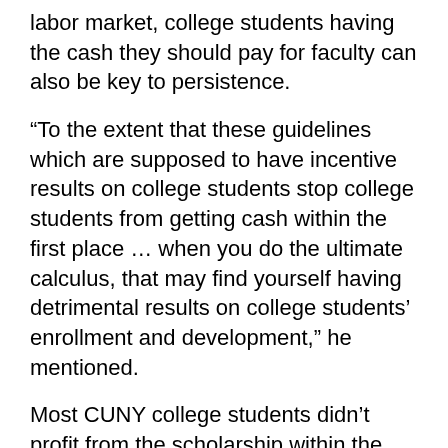labor market, college students having the cash they should pay for faculty can also be key to persistence.
“To the extent that these guidelines which are supposed to have incentive results on college students stop college students from getting cash within the first place … when you do the ultimate calculus, that may find yourself having detrimental results on college students’ enrollment and development,” he mentioned.
Most CUNY college students didn’t profit from the scholarship within the preliminary yr of this system. Solely 5 p.c of first-time, first-year undergraduates in fall 2018 acquired Excelsior grants, whereas 72 p.c